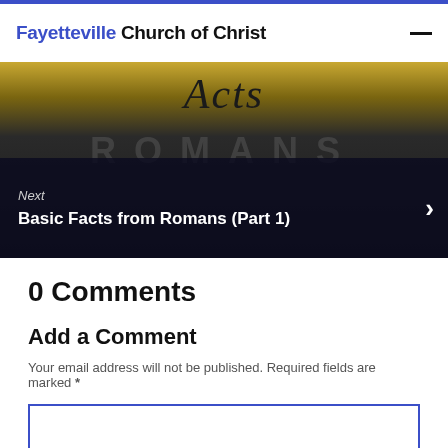Fayetteville Church of Christ
[Figure (photo): Hero image showing the word Acts in italic serif font over a golden/dark textured background, with a navigation bar overlay at the bottom reading 'Next: Basic Facts from Romans (Part 1)' with a right chevron arrow.]
0 Comments
Add a Comment
Your email address will not be published. Required fields are marked *